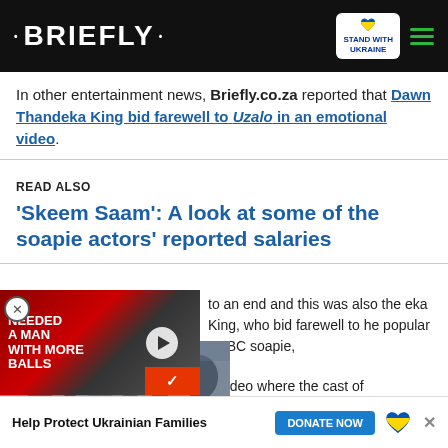• BRIEFLY •  STAND WITH UKRAINE
In other entertainment news, Briefly.co.za reported that Dawn Thandeka King bid farewell to Uzalo in an emotional video.
READ ALSO
'Skeem Saam': A look at some of the soapie actors' reported salaries
to an end and this was also the eka King, who bid farewell to he popular SABC soapie, a video where the cast of
[Figure (other): Video player overlay showing a couple at a red carpet event with text 'NEEDED A MAN WITH MORE BALLS' and a play button]
Help Protect Ukrainian Families  DONATE NOW